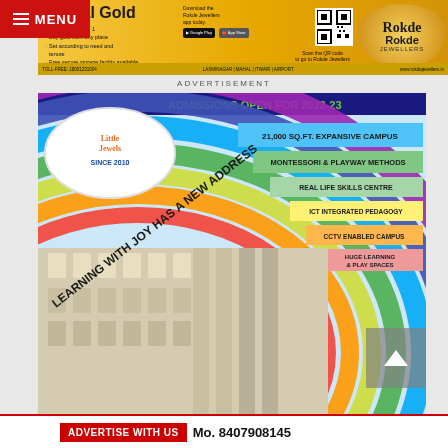[Figure (advertisement): Rokde Jewellers Digital Gold advertisement banner with gold background, QR code, and circular logo]
ADVERTISEMENT
[Figure (advertisement): Little Jewels school admissions advertisement for 2022-23 with rainbow arcs, building illustration, and features list: 21,000 SQ.FT. EXPANSIVE CAMPUS, MONTESSORI & PLAYWAY METHODS, REAL LIFE SKILLS CENTRE, ICT INTEGRATED PEDAGOGY, CCTV ENABLED CAMPUS, HUGE LEARNING & PLAY SPACES]
ADVERTISE WITH US  Mo. 8407908145